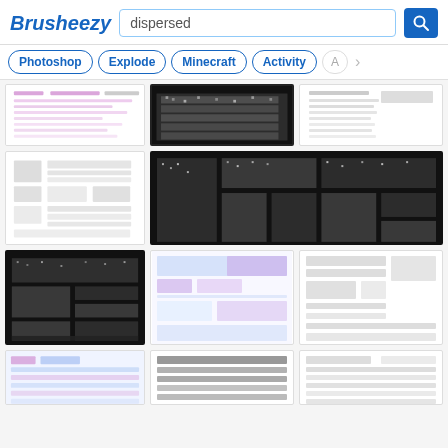Brusheezy — search results for 'dispersed'
[Figure (screenshot): Brusheezy website screenshot showing search results for 'dispersed' keyword with navigation tags Photoshop, Explode, Minecraft, Activity and a grid of dispersed/noise pattern brush preview thumbnails]
Photoshop
Explode
Minecraft
Activity